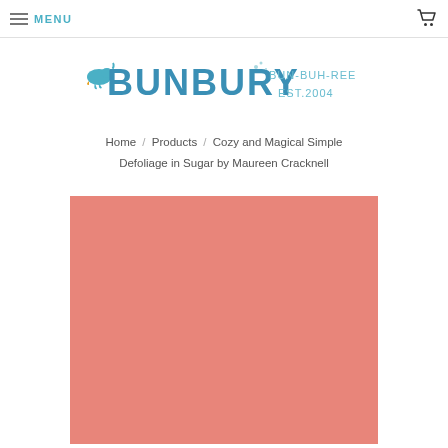MENU
[Figure (logo): Bunbury logo with bird and text BUN-BUH-REE EST.2004]
Home / Products / Cozy and Magical Simple Defoliage in Sugar by Maureen Cracknell
[Figure (photo): Salmon/coral colored fabric with repeating white stylized pine tree pattern - Cozy and Magical Simple Defoliage in Sugar by Maureen Cracknell]